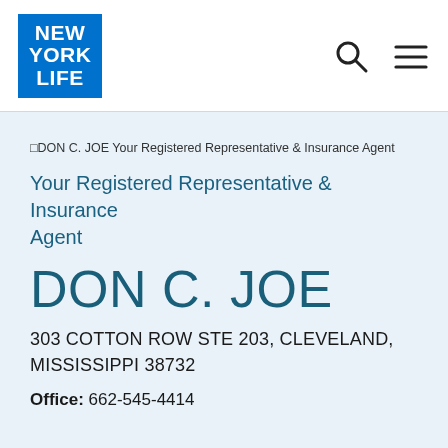[Figure (logo): New York Life logo — blue square with white bold text reading NEW YORK LIFE in three lines]
[Figure (other): Search icon (magnifying glass) and hamburger menu icon in the top right of the header]
DON C. JOE Your Registered Representative & Insurance Agent
Your Registered Representative & Insurance Agent
DON C. JOE
303 COTTON ROW STE 203, CLEVELAND, MISSISSIPPI 38732
Office: 662-545-4414